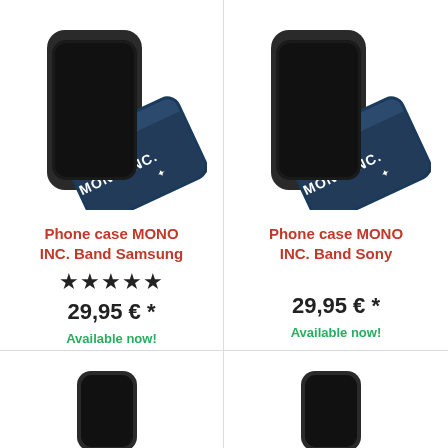[Figure (illustration): Phone case MONO INC. Band Samsung product image showing two phone cases stacked]
Phone case MONO INC. Band Samsung
★★★★★
29,95 € *
Available now!
[Figure (illustration): Phone case MONO INC. Band Sony product image showing two phone cases stacked]
Phone case MONO INC. Band Sony
29,95 € *
Available now!
[Figure (illustration): Partial phone case product image at bottom left]
[Figure (illustration): Partial phone case product image at bottom right]